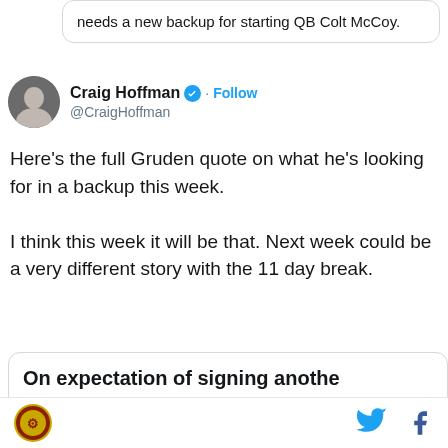needs a new backup for starting QB Colt McCoy.
Craig Hoffman @CraigHoffman · Follow
Here's the full Gruden quote on what he's looking for in a backup this week.

I think this week it will be that. Next week could be a very different story with the 11 day break.
On expectation of signing anothe
"Yes we have to. We have to get so probably going to be less workout we'll see. Familiarity with either C [Kevin] O'Connell, maybe. We'll